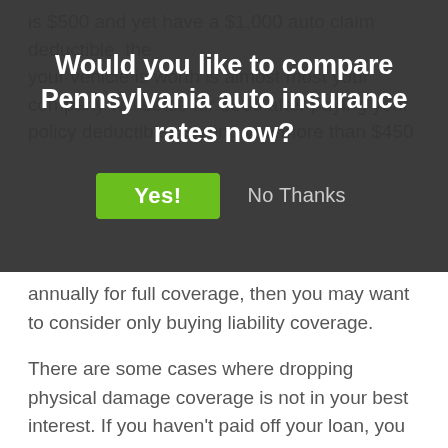[Figure (screenshot): A modal dialog overlay with dark semi-transparent background asking 'Would you like to compare Pennsylvania auto insurance rates now?' with a green 'Yes!' button and a 'No Thanks' text link.]
annually for full coverage, then you may want to consider only buying liability coverage.
There are some cases where dropping physical damage coverage is not in your best interest. If you haven't paid off your loan, you are required to maintain full coverage in order to prevent the bank from purchasing higher-priced coverage. Also, if you don't have enough money to buy a different vehicle if your current one is totaled, you should not eliminate full coverage.